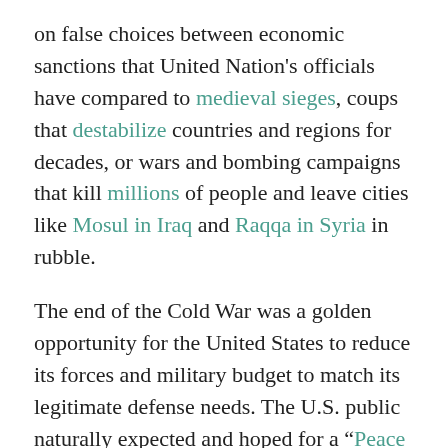on false choices between economic sanctions that United Nation's officials have compared to medieval sieges, coups that destabilize countries and regions for decades, or wars and bombing campaigns that kill millions of people and leave cities like Mosul in Iraq and Raqqa in Syria in rubble.
The end of the Cold War was a golden opportunity for the United States to reduce its forces and military budget to match its legitimate defense needs. The U.S. public naturally expected and hoped for a “Peace Dividend,” and even veteran Pentagon officials told the Senate Budget Committee in 1991 that military spending could